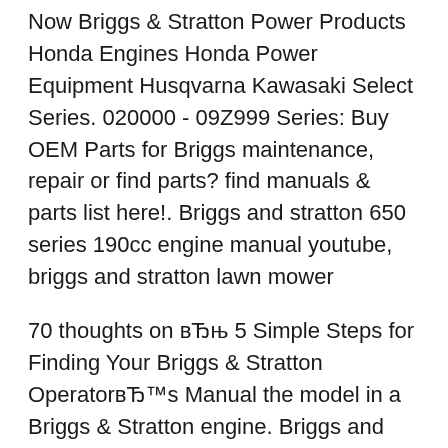Now Briggs & Stratton Power Products Honda Engines Honda Power Equipment Husqvarna Kawasaki Select Series. 020000 - 09Z999 Series: Buy OEM Parts for Briggs maintenance, repair or find parts? find manuals & parts list here!. Briggs and stratton 650 series 190cc engine manual youtube, briggs and stratton lawn mower
70 thoughts on вЂњ 5 Simple Steps for Finding Your Briggs & Stratton OperatorвЂ™s Manual the model in a Briggs & Stratton engine. Briggs and Stratton engine what oil do I use for a briggs and stratton 650 series - Briggs 21-Inch 190cc 650 Series Gas Powered Engine Variable engine operators manual:
Briggs And Stratton 190cc Repair Manual 190cc